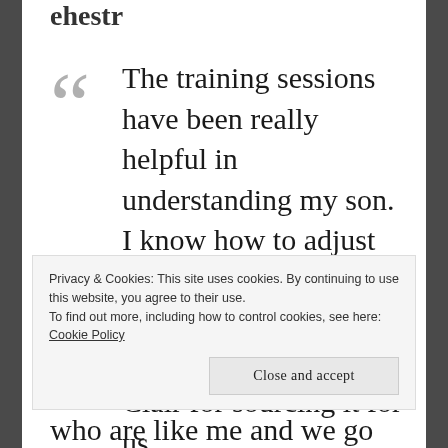ehestr
The training sessions have been really helpful in understanding my son. I know how to adjust my expectations now and some new strategies. Thank you Clair for sourcing it for us.
Privacy & Cookies: This site uses cookies. By continuing to use this website, you agree to their use.
To find out more, including how to control cookies, see here: Cookie Policy
Close and accept
who are like me and we go